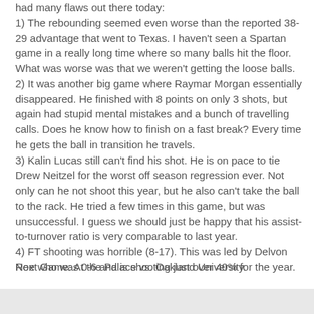had many flaws out there today:
1) The rebounding seemed even worse than the reported 38-29 advantage that went to Texas. I haven't seen a Spartan game in a really long time where so many balls hit the floor. What was worse was that we weren't getting the loose balls.
2) It was another big game where Raymar Morgan essentially disappeared. He finished with 8 points on only 3 shots, but again had stupid mental mistakes and a bunch of travelling calls. Does he know how to finish on a fast break? Every time he gets the ball in transition he travels.
3) Kalin Lucas still can't find his shot. He is on pace to tie Drew Neitzel for the worst off season regression ever. Not only can he not shoot this year, but he also can't take the ball to the rack. He tried a few times in this game, but was unsuccessful. I guess we should just be happy that his assist-to-turnover ratio is very comparable to last year.
4) FT shooting was horrible (8-17). This was led by Delvon Roe who was 0-6 and is shooting just over 40% for the year.
Next Game: At the Palace vs. Oakland University.